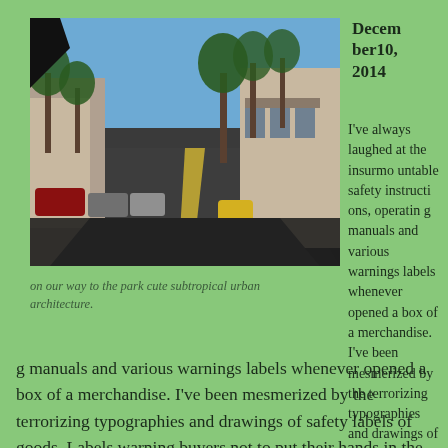[Figure (photo): View from inside a car driving down a tree-lined suburban street with parked cars on the left and storefronts on the right, subtropical urban architecture, clear blue sky.]
December10, 2014
I've always laughed at the insurmountable safety instructions, operating manuals and various warnings labels whenever opened a box of a merchandise. I've been mesmerized by the terrorizing typographies and drawings of safety labels of goods. Labels warning buyers not to put their hands in the
on our way to the park cute subtropical urban architecture.